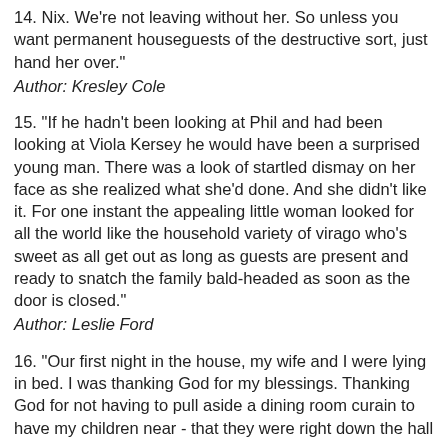14. Nix. We're not leaving without her. So unless you want permanent houseguests of the destructive sort, just hand her over."
Author: Kresley Cole
15. "If he hadn't been looking at Phil and had been looking at Viola Kersey he would have been a surprised young man. There was a look of startled dismay on her face as she realized what she'd done. And she didn't like it. For one instant the appealing little woman looked for all the world like the household variety of virago who's sweet as all get out as long as guests are present and ready to snatch the family bald-headed as soon as the door is closed."
Author: Leslie Ford
16. "Our first night in the house, my wife and I were lying in bed. I was thanking God for my blessings. Thanking God for not having to pull aside a dining room curain to have my children near - that they were right down the hall